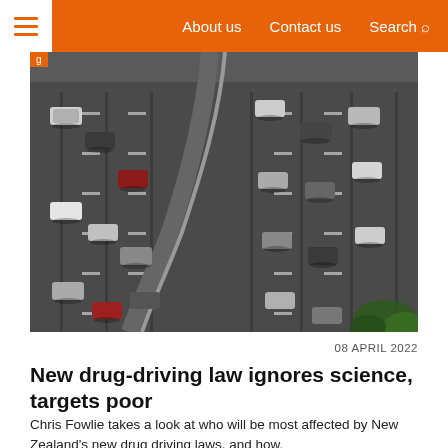About us  Contact us  Search
[Figure (photo): Aerial view of a multi-lane highway interchange with numerous cars in traffic, viewed from above at an angle]
08 APRIL 2022
New drug-driving law ignores science, targets poor
Chris Fowlie takes a look at who will be most affected by New Zealand's new drug driving laws, and how.